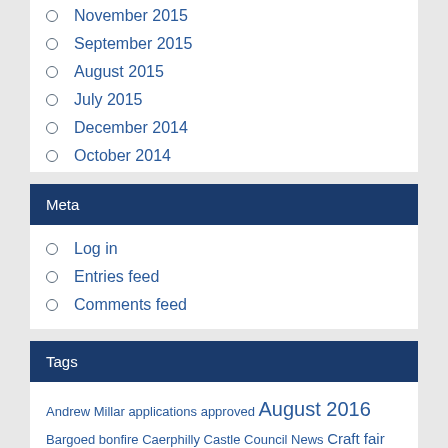November 2015
September 2015
August 2015
July 2015
December 2014
October 2014
Meta
Log in
Entries feed
Comments feed
Tags
Andrew Millar applications approved August 2016 Bargoed bonfire Caerphilly Castle Council News Craft fair defibrillator diversions of footpaths Footsteps Free Curry fun quiz July 2016 June
Latest Posts August